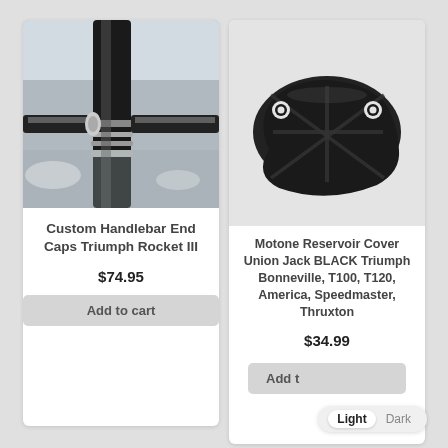[Figure (photo): Close-up photo of a custom handlebar end cap on a motorcycle handlebar, showing chrome/metallic rings against a dark background]
Custom Handlebar End Caps Triumph Rocket III
$74.95
Add to cart
[Figure (photo): Black reservoir cover with Union Jack pattern/embossing, oval-shaped with two mounting holes, for Triumph motorcycles]
Motone Reservoir Cover Union Jack BLACK Triumph Bonneville, T100, T120, America, Speedmaster, Thruxton
$34.99
Add to cart